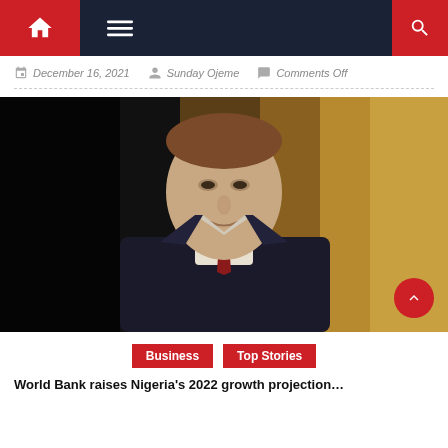Navigation bar with home, menu, and search icons
December 16, 2021  Sunday Ojeme  Comments Off
[Figure (photo): Portrait photo of a man in a dark suit with a red tie, with a blurred golden/dark background]
Business  Top Stories
World Bank raises Nigeria's 2022 growth projection...